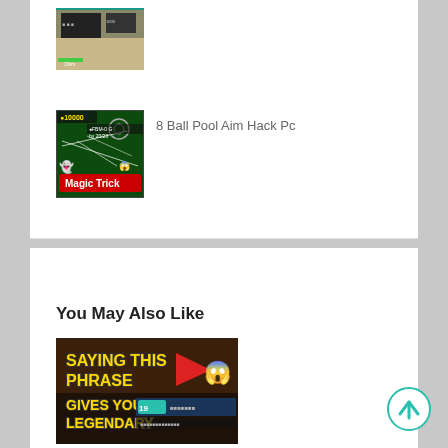[Figure (screenshot): Partial screenshot of a game, showing a dark gaming scene with a green health bar, partially cropped at top of page]
8 Ball Pool Aim Hack Pc
[Figure (screenshot): 8 Ball Pool game screenshot with pool table, showing Magic Trick text in red with ghost emojis on dark green pool table background]
You May Also Like
[Figure (screenshot): Thumbnail image with yellow outlined text saying 'SAYING THIS PHRASE GIVES YOU A LEGENDARY' with a shocked face emoji and red arrow, game screenshot background]
[Figure (other): Scroll to top circular button with teal upward arrow]